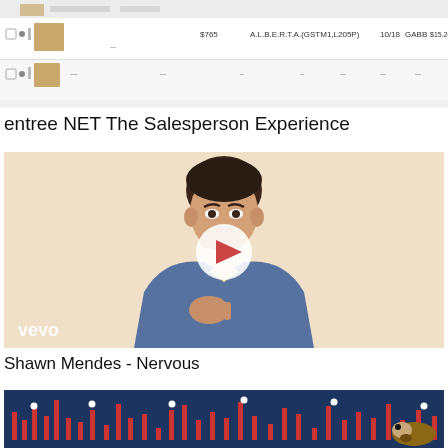[Figure (screenshot): Screenshot of a web interface showing product listing rows with thumbnails, checkboxes, and tabular data columns including prices]
entree NET The Salesperson Experience
[Figure (screenshot): Music video thumbnail from Vevo showing a young man in a denim jacket against a beige background with a circular play button overlay and 'vevo' watermark in bottom left]
Shawn Mendes - Nervous
[Figure (screenshot): Dark blue background with red vertical bar chart elements and white dots, appears to be a music visualization or financial chart with an animal (hedgehog or similar) visible on the right]